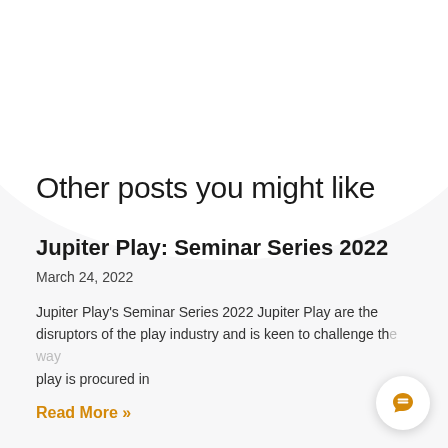Other posts you might like
Jupiter Play: Seminar Series 2022
March 24, 2022
Jupiter Play's Seminar Series 2022 Jupiter Play are the disruptors of the play industry and is keen to challenge the way play is procured in
Read More »